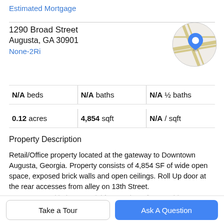Estimated Mortgage
1290 Broad Street
Augusta, GA 30901
None-2Ri
[Figure (map): Circular map thumbnail showing street map with a blue location pin marker]
N/A beds | N/A baths | N/A ½ baths
0.12 acres | 4,854 sqft | N/A / sqft
Property Description
Retail/Office property located at the gateway to Downtown Augusta, Georgia. Property consists of 4,854 SF of wide open space, exposed brick walls and open ceilings. Roll Up door at the rear accesses from alley on 13th Street.
Great space with the potential for a variety of uses. This
Take a Tour
Ask A Question